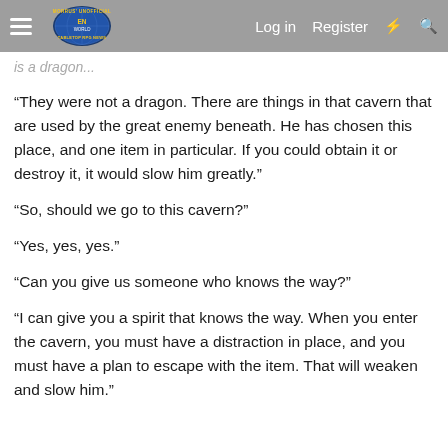Morrus' Unofficial Tabletop RPG News | Log in | Register
is a dragon...
“They were not a dragon. There are things in that cavern that are used by the great enemy beneath. He has chosen this place, and one item in particular. If you could obtain it or destroy it, it would slow him greatly.”
“So, should we go to this cavern?”
“Yes, yes, yes.”
“Can you give us someone who knows the way?”
“I can give you a spirit that knows the way. When you enter the cavern, you must have a distraction in place, and you must have a plan to escape with the item. That will weaken and slow him.”